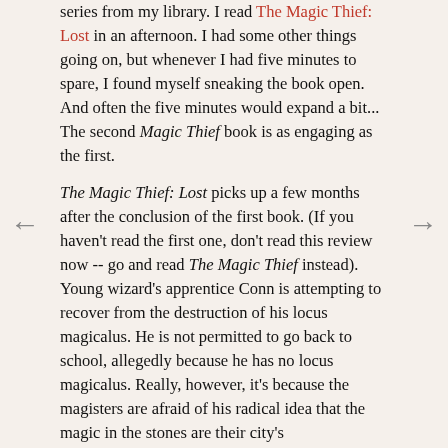series from my library. I read The Magic Thief: Lost in an afternoon. I had some other things going on, but whenever I had five minutes to spare, I found myself sneaking the book open. And often the five minutes would expand a bit... The second Magic Thief book is as engaging as the first.

The Magic Thief: Lost picks up a few months after the conclusion of the first book. (If you haven't read the first one, don't read this review now -- go and read The Magic Thief instead). Young wizard's apprentice Conn is attempting to recover from the destruction of his locus magicalus. He is not permitted to go back to school, allegedly because he has no locus magicalus. Really, however, it's because the magisters are afraid of his radical idea that the magic in the stones are their city's...